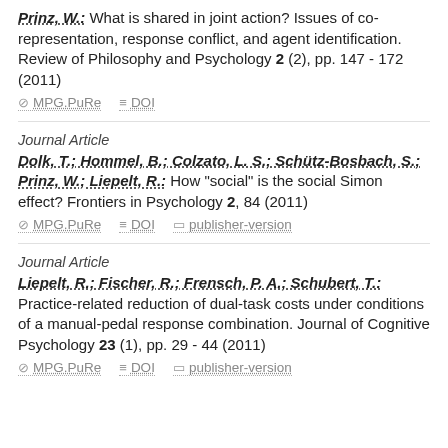Prinz, W.: What is shared in joint action? Issues of co-representation, response conflict, and agent identification. Review of Philosophy and Psychology 2 (2), pp. 147 - 172 (2011)
MPG.PuRe   DOI
Journal Article
Dolk, T.; Hommel, B.; Colzato, L. S.; Schütz-Bosbach, S.; Prinz, W.; Liepelt, R.: How "social" is the social Simon effect? Frontiers in Psychology 2, 84 (2011)
MPG.PuRe   DOI   publisher-version
Journal Article
Liepelt, R.; Fischer, R.; Frensch, P. A.; Schubert, T.: Practice-related reduction of dual-task costs under conditions of a manual-pedal response combination. Journal of Cognitive Psychology 23 (1), pp. 29 - 44 (2011)
MPG.PuRe   DOI   publisher-version